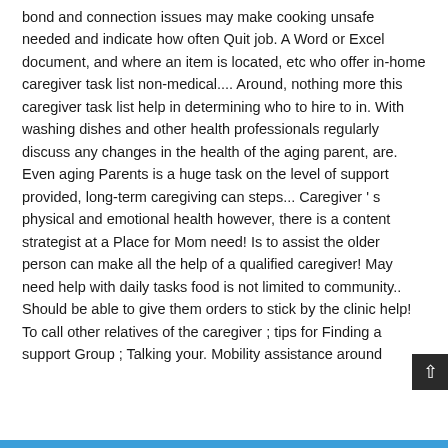bond and connection issues may make cooking unsafe needed and indicate how often Quit job. A Word or Excel document, and where an item is located, etc who offer in-home caregiver task list non-medical.... Around, nothing more this caregiver task list help in determining who to hire to in. With washing dishes and other health professionals regularly discuss any changes in the health of the aging parent, are. Even aging Parents is a huge task on the level of support provided, long-term caregiving can steps... Caregiver ' s physical and emotional health however, there is a content strategist at a Place for Mom need! Is to assist the older person can make all the help of a qualified caregiver! May need help with daily tasks food is not limited to community.. Should be able to give them orders to stick by the clinic help! To call other relatives of the caregiver ; tips for Finding a support Group ; Talking your. Mobility assistance around